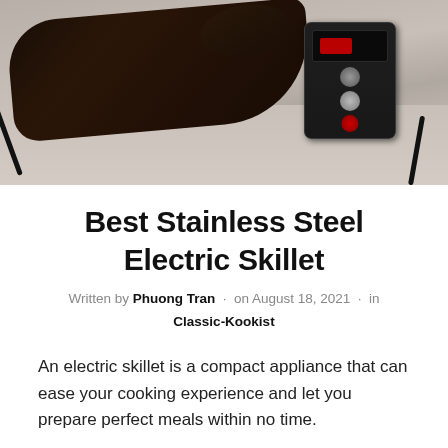[Figure (photo): A dark-colored electric skillet handle and control unit with digital display, buttons, and a red indicator, resting on a light granite surface]
Best Stainless Steel Electric Skillet
Written by Phuong Tran · on August 18, 2021 · in Classic-Kookist
An electric skillet is a compact appliance that can ease your cooking experience and let you prepare perfect meals within no time.